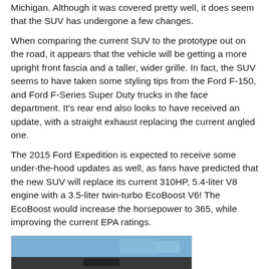Michigan. Although it was covered pretty well, it does seem that the SUV has undergone a few changes.
When comparing the current SUV to the prototype out on the road, it appears that the vehicle will be getting a more upright front fascia and a taller, wider grille. In fact, the SUV seems to have taken some styling tips from the Ford F-150, and Ford F-Series Super Duty trucks in the face department. It's rear end also looks to have received an update, with a straight exhaust replacing the current angled one.
The 2015 Ford Expedition is expected to receive some under-the-hood updates as well, as fans have predicted that the new SUV will replace its current 310HP, 5.4-liter V8 engine with a 3.5-liter twin-turbo EcoBoost V6! The EcoBoost would increase the horsepower to 365, while improving the current EPA ratings.
[Figure (photo): Interior photo of a Ford Expedition showing the steering wheel and dashboard/infotainment screen area, taken from the driver's perspective.]